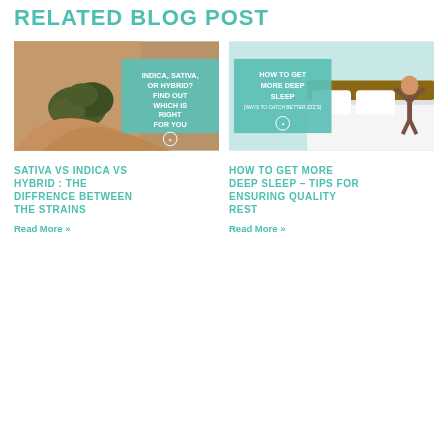RELATED BLOG POST
[Figure (photo): Blog post thumbnail: hands holding cannabis buds with teal overlay text 'INDICA, SATIVA, OR HYBRID? FIND OUT WHICH IS RIGHT FOR YOU' and a logo]
[Figure (photo): Blog post thumbnail: woman stretching arms on bed with teal overlay text 'HOW TO GET MORE DEEP SLEEP [WAYS TO CATCH BETTER ZZZ'S]' and a logo]
SATIVA VS INDICA VS HYBRID : THE DIFFRENCE BETWEEN THE STRAINS
Read More »
HOW TO GET MORE DEEP SLEEP – TIPS FOR ENSURING QUALITY REST
Read More »